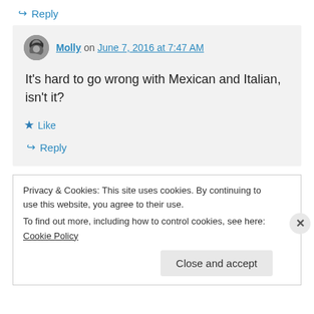↪ Reply
Molly on June 7, 2016 at 7:47 AM
It's hard to go wrong with Mexican and Italian, isn't it?
★ Like
↪ Reply
Privacy & Cookies: This site uses cookies. By continuing to use this website, you agree to their use. To find out more, including how to control cookies, see here: Cookie Policy
Close and accept